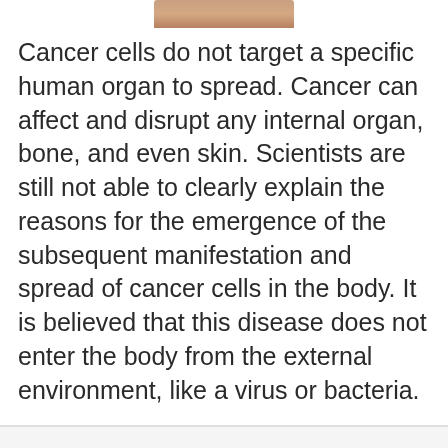[Figure (photo): Cropped photo of a person, showing bottom of face/neck area at the top of the page]
Cancer cells do not target a specific human organ to spread. Cancer can affect and disrupt any internal organ, bone, and even skin. Scientists are still not able to clearly explain the reasons for the emergence of the subsequent manifestation and spread of cancer cells in the body. It is believed that this disease does not enter the body from the external environment, like a virus or bacteria.
About us
Contact
Privacy Policy & Cookies